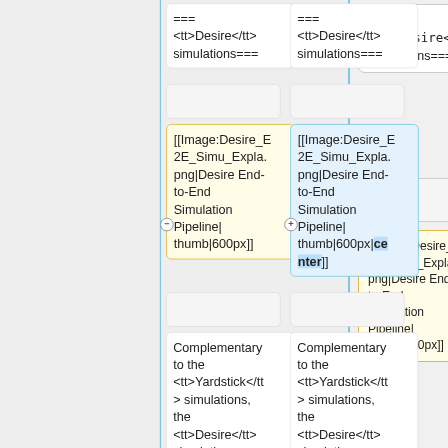===
<tt>Desire</tt>
simulations===
===
<tt>Desire</tt>
simulations===
[[Image:Desire_E2E_Simu_Expla.png|Desire End-to-End Simulation Pipeline|thumb|600px]]
[[Image:Desire_E2E_Simu_Expla.png|Desire End-to-End Simulation Pipeline|thumb|600px|center]]
Complementary to the <tt>Yardstick</tt> simulations, the <tt>Desire</tt> simulations are
Complementary to the <tt>Yardstick</tt> simulations, the <tt>Desire</tt> simulations are